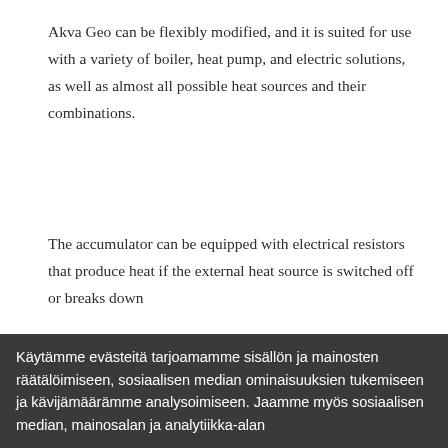Akva Geo can be flexibly modified, and it is suited for use with a variety of boiler, heat pump, and electric solutions, as well as almost all possible heat sources and their combinations.
The accumulator can be equipped with electrical resistors that produce heat if the external heat source is switched off or breaks down
SPECIFICATIONS
GUIDES
Käytämme evästeitä tarjoamamme sisällön ja mainosten räätälöimiseen, sosiaalisen median ominaisuuksien tukemiseen ja kävijämäärämme analysoimiseen. Jaamme myös sosiaalisen median, mainosalan ja analytiikka-alan